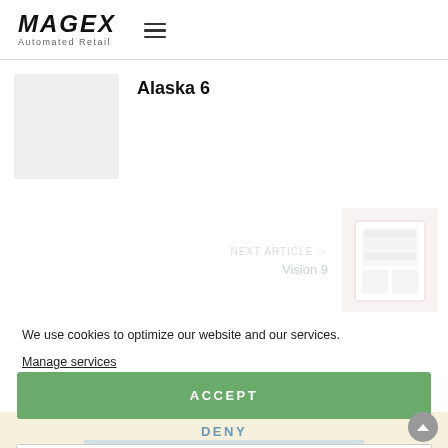MAGEX Automated Retail
Alaska 6
[Figure (photo): Light grey placeholder image for Alaska 6 product]
NEXT ARTICLE → Vision 9
[Figure (photo): Faded image of a white vending machine (Vision 9)]
We use cookies to optimize our website and our services.
Manage services
ACCEPT
DENY
GET IN TOUCH
PREFERENCES
Cookie Policy  Privacy Policy  imprint